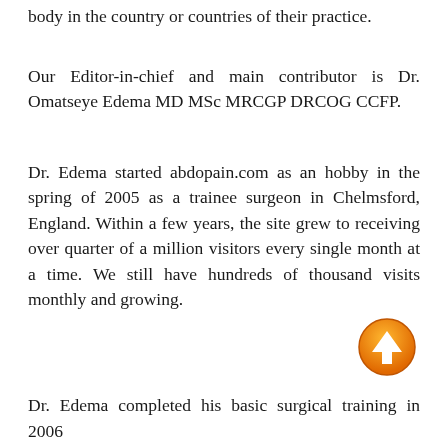body in the country or countries of their practice.
Our Editor-in-chief and main contributor is Dr. Omatseye Edema MD MSc MRCGP DRCOG CCFP.
Dr. Edema started abdopain.com as an hobby in the spring of 2005 as a trainee surgeon in Chelmsford, England. Within a few years, the site grew to receiving over quarter of a million visitors every single month at a time. We still have hundreds of thousand visits monthly and growing.
[Figure (illustration): Orange circular button with white upward arrow icon]
Dr. Edema completed his basic surgical training in 2006